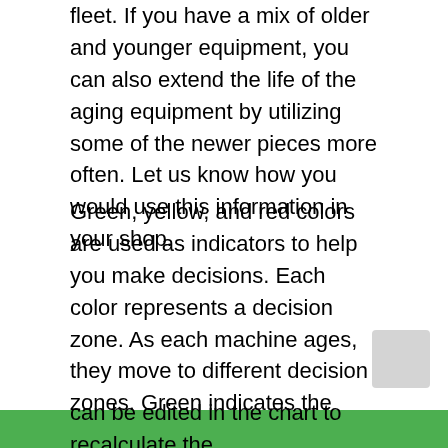fleet. If you have a mix of older and younger equipment, you can also extend the life of the aging equipment by utilizing some of the newer pieces more often. Let us know how you would use this information in your shop.
Green, yellow, and red colors are used as indicators to help you make decisions. Each color represents a decision zone. As each machine ages, they move to different decision zones. Green indicates the equipment is in top shape, and yellow indicates a point at which you should consider replacing it. The red indicates that the equipment is past its expected life, and should be replaced. The hours or distance per year value can be edited in the chart to recalculate the